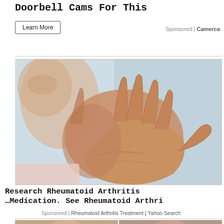Doorbell Cams For This
Learn More
Sponsored | Camerca
[Figure (photo): Elderly woman examining her hands, possibly showing joint pain associated with rheumatoid arthritis. Close-up of hands being held up and examined.]
Research Rheumatoid Arthritis …Medication. See Rheumatoid Arthri
Sponsored | Rheumatoid Arthritis Treatment | Yahoo Search
[Figure (photo): Bottom portion showing two portrait photos of people, partially visible.]